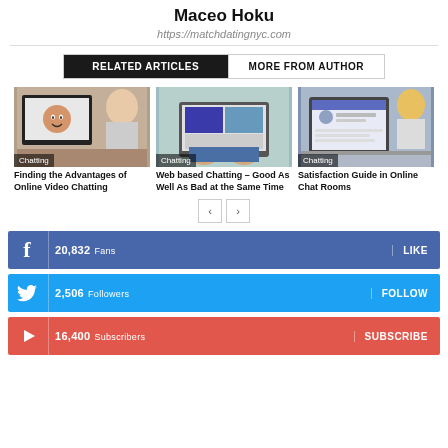Maceo Hoku
https://matchdatingnyc.com
RELATED ARTICLES | MORE FROM AUTHOR
[Figure (photo): Person using laptop for video chat – Finding the Advantages of Online Video Chatting, tagged Chatting]
Finding the Advantages of Online Video Chatting
[Figure (photo): Overhead view of person on laptop – Web based Chatting – Good As Well As Bad at the Same Time, tagged Chatting]
Web based Chatting – Good As Well As Bad at the Same Time
[Figure (photo): Person viewing social profile on tablet – Satisfaction Guide in Online Chat Rooms, tagged Chatting]
Satisfaction Guide in Online Chat Rooms
20,832  Fans   LIKE
2,506  Followers   FOLLOW
16,400  Subscribers   SUBSCRIBE